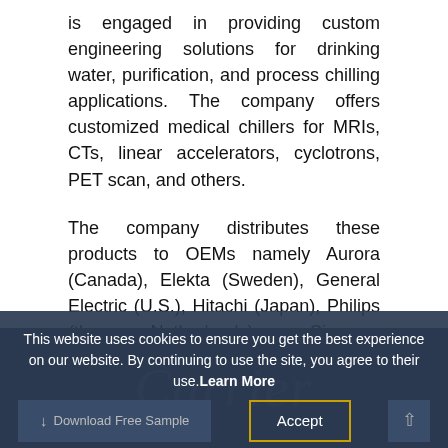is engaged in providing custom engineering solutions for drinking water, purification, and process chilling applications. The company offers customized medical chillers for MRIs, CTs, linear accelerators, cyclotrons, PET scan, and others.
The company distributes these products to OEMs namely Aurora (Canada), Elekta (Sweden), General Electric (U.S.), Hitachi (Japan), Philips (the Netherlands), Siemens (Germany), Varian (U.S.), and more.
Carrier Corporation
This website uses cookies to ensure you get the best experience on our website. By continuing to use the site, you agree to their use. Learn More